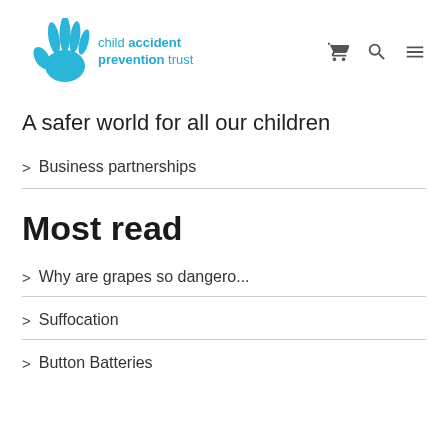[Figure (logo): Child Accident Prevention Trust logo with a blue hand graphic and text 'child accident prevention trust']
A safer world for all our children
> Business partnerships
Most read
> Why are grapes so dangero...
> Suffocation
> Button Batteries